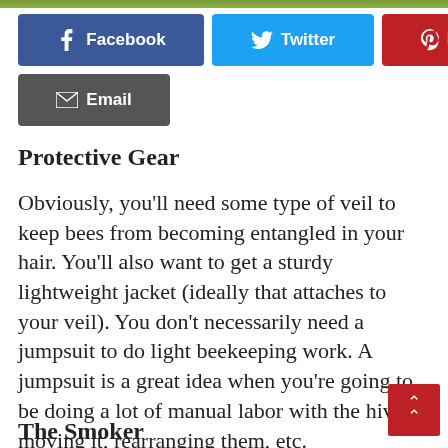[Figure (photo): Partial image strip at top of page, appears to show a beekeeping or outdoor scene]
[Figure (infographic): Social sharing buttons: Facebook (blue), Twitter (cyan), Pinterest (red), Email (dark gray)]
Protective Gear
Obviously, you’ll need some type of veil to keep bees from becoming entangled in your hair. You’ll also want to get a sturdy lightweight jacket (ideally that attaches to your veil). You don’t necessarily need a jumpsuit to do light beekeeping work. A jumpsuit is a great idea when you’re going to be doing a lot of manual labor with the hive – moving it, rearranging them, etc.
The Smoker